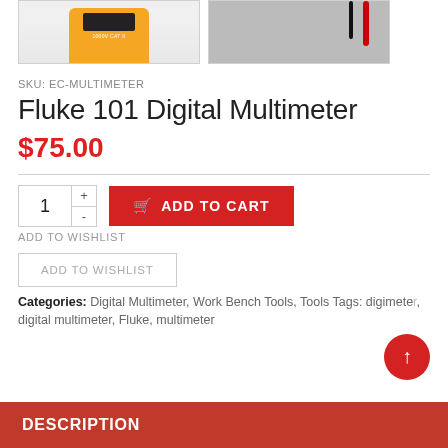[Figure (photo): Two product images of Fluke 101 Digital Multimeter: left shows the orange/black device body, right shows red and black test probes/wires]
SKU: EC-MULTIMETER
Fluke 101 Digital Multimeter
$75.00
ADD TO CART (quantity: 1)
ADD TO WISHLIST
ADD TO WISHLIST (button)
Categories: Digital Multimeter, Work Bench Tools, Tools Tags: digimeter, digital multimeter, Fluke, multimeter
DESCRIPTION